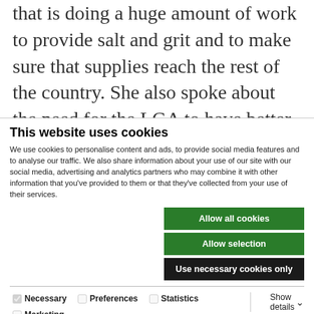that is doing a huge amount of work to provide salt and grit and to make sure that supplies reach the rest of the country. She also spoke about the need for the LGA to have better plans in future, but we have to be careful what we wish for. On the one hand, local communities elect councillors and
This website uses cookies
We use cookies to personalise content and ads, to provide social media features and to analyse our traffic. We also share information about your use of our site with our social media, advertising and analytics partners who may combine it with other information that you've provided to them or that they've collected from your use of their services.
Allow all cookies
Allow selection
Use necessary cookies only
Necessary  Preferences  Statistics  Marketing  Show details